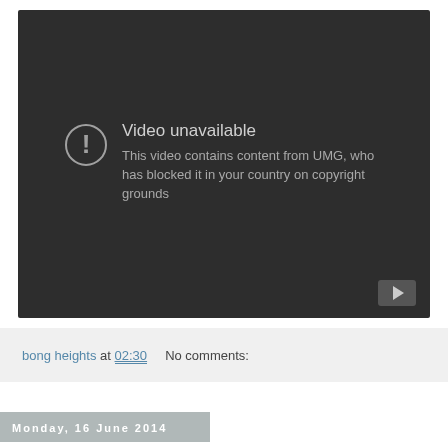[Figure (screenshot): YouTube video player showing 'Video unavailable' error message with an exclamation mark icon in a circle. Text reads: 'Video unavailable. This video contains content from UMG, who has blocked it in your country on copyright grounds'. Dark background with a YouTube play button icon in the bottom-right corner.]
bong heights at 02:30    No comments:
Monday, 16 June 2014